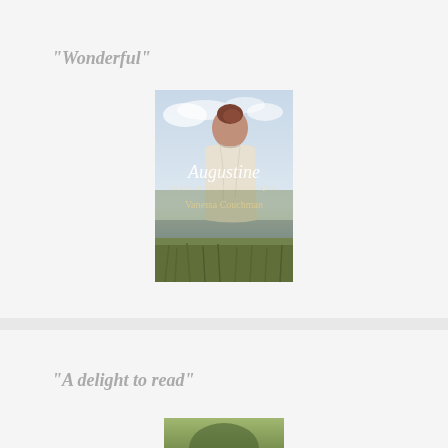“Wonderful”
[Figure (illustration): Book cover for 'Augustine: An Alouette Trilogy Prequel' by Vanessa Couchman. Shows a woman with auburn hair in a bun viewed from behind, wearing a white blouse, with a pastoral English landscape featuring a lake and meadows below.]
“A delight to read”
[Figure (photo): Partial view of another book cover, only the top portion visible at the bottom of the page.]